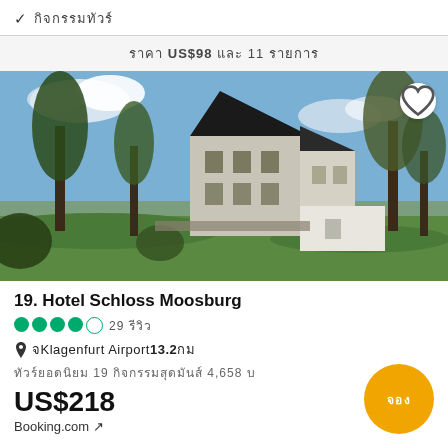✓ กิจกรรมทัวร์
ราคา US$98 และ 11 รายการ
[Figure (photo): Exterior photo of Hotel Schloss Moosburg, a historic castle-like building surrounded by trees and green lawn under a blue sky]
19. Hotel Schloss Moosburg
●●●●○ 29 รีวิว
📍 จKlagenfurt Airport13.2กม
ทัวร์ยอดนิยม 19 กิจกรรมสุดมันส์ 4,658 บ
US$218
Booking.com ↗
จอง